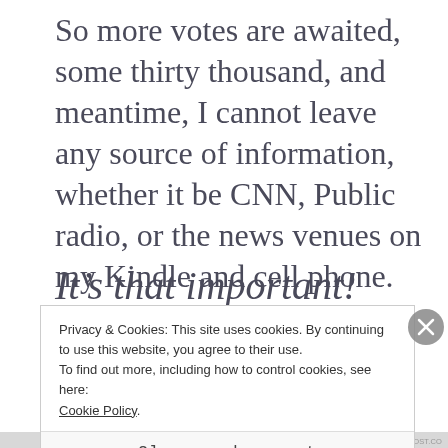So more votes are awaited, some thirty thousand, and meantime, I cannot leave any source of information, whether it be CNN, Public radio, or the news venues on my Kindle and cell phone. Wherever I am, my mind. my heart, nerves, hopes, are focused on this election.
It’s that important!
Privacy & Cookies: This site uses cookies. By continuing to use this website, you agree to their use.
To find out more, including how to control cookies, see here:
Cookie Policy.
Close and accept